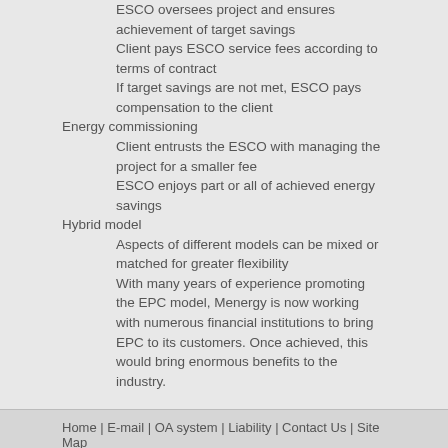ESCO oversees project and ensures achievement of target savings
Client pays ESCO service fees according to terms of contract
If target savings are not met, ESCO pays compensation to the client
Energy commissioning
Client entrusts the ESCO with managing the project for a smaller fee
ESCO enjoys part or all of achieved energy savings
Hybrid model
Aspects of different models can be mixed or matched for greater flexibility
With many years of experience promoting the EPC model, Menergy is now working with numerous financial institutions to bring EPC to its customers. Once achieved, this would bring enormous benefits to the industry.
Home | E-mail | OA system | Liability | Contact Us | Site Map
© 2020 Copyrights © www.menergy.cn All Rights Reserved. 沪ICP备19056417号-1沪300.cn